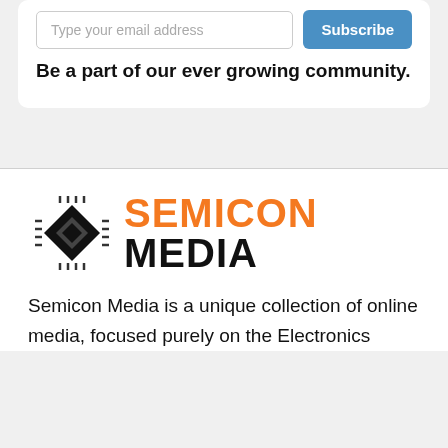Type your email address
Subscribe
Be a part of our ever growing community.
[Figure (logo): Semicon Media logo with chip icon and orange/black text]
Semicon Media is a unique collection of online media, focused purely on the Electronics